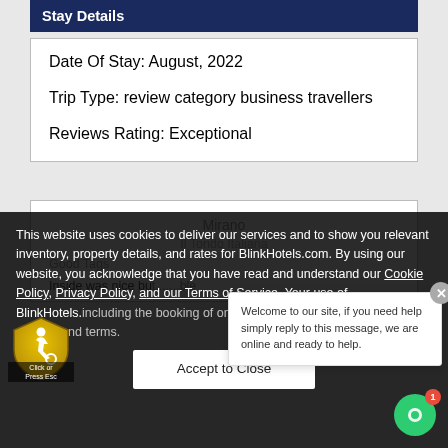Stay Details
Date Of Stay: August, 2022
Trip Type: review category business travellers
Reviews Rating: Exceptional
This website uses cookies to deliver our services and to show you relevant inventory, property details, and rates for BlinkHotels.com. By using our website, you acknowledge that you have read and understand our Cookie Policy, Privacy Policy, and our Terms of Service. Your use of BlinkHotels.com, including the booking of online reservations, is subject to these policies and terms.
Accept to Close
Welcome to our site, if you need help simply reply to this message, we are online and ready to help.